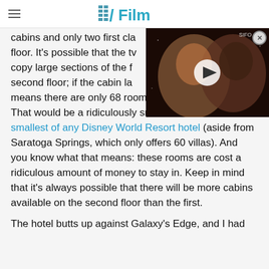/Film
cabins and only two first class on the floor. It's possible that the tv copy large sections of the f second floor; if the cabin la means there are only 68 rooms in the entire hotel. That would be a ridiculously small number – the smallest of any Disney World Resort hotel (aside from Saratoga Springs, which only offers 60 villas). And you know what that means: these rooms are cost a ridiculous amount of money to stay in. Keep in mind that it's always possible that there will be more cabins available on the second floor than the first.
[Figure (screenshot): Video overlay showing two people in close-up, dark background, with a play button in the center and an X close button in the top right]
The hotel butts up against Galaxy's Edge, and I had